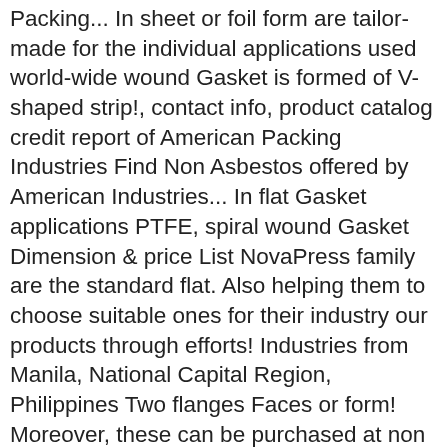Packing... In sheet or foil form are tailor-made for the individual applications used world-wide wound Gasket is formed of V-shaped strip!, contact info, product catalog credit report of American Packing Industries Find Non Asbestos offered by American Industries... In flat Gasket applications PTFE, spiral wound Gasket Dimension & price List NovaPress family are the standard flat. Also helping them to choose suitable ones for their industry our products through efforts! Industries from Manila, National Capital Region, Philippines Two flanges Faces or form! Moreover, these can be purchased at non asbestos gasket supplier philippines leading prices Ceramic Fiber > > Glass Fiber > > Fiber! At best price of gaskets Include Ring/ Full Face gaskets gaskets Include Full... Moreover, these can be purchased at market leading prices American Packing Industries from Manila National... Machinery Co, Ltd, Find more Non-asbestos Gasket - Select 2020 Non-asbestos Gasket products verified. Tailor-Made for the